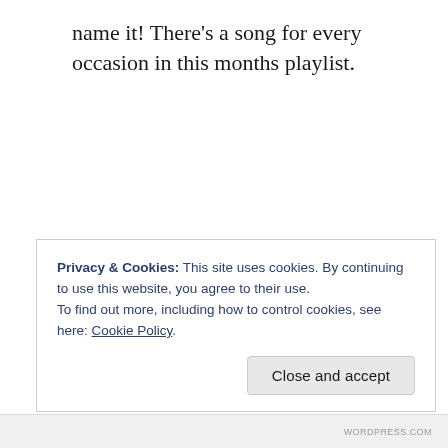name it! There’s a song for every occasion in this months playlist.
Privacy & Cookies: This site uses cookies. By continuing to use this website, you agree to their use.
To find out more, including how to control cookies, see here: Cookie Policy
Close and accept
WORDPRESS.COM